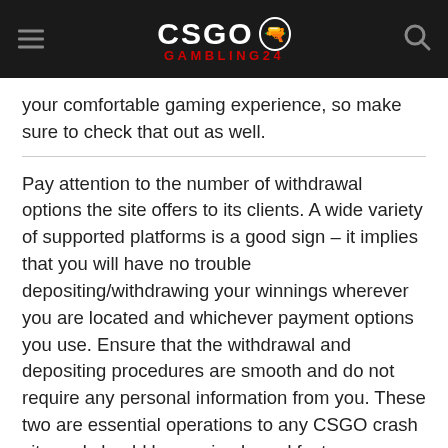CSGO GAMBLING24
your comfortable gaming experience, so make sure to check that out as well.
Pay attention to the number of withdrawal options the site offers to its clients. A wide variety of supported platforms is a good sign – it implies that you will have no trouble depositing/withdrawing your winnings wherever you are located and whichever payment options you use. Ensure that the withdrawal and depositing procedures are smooth and do not require any personal information from you. These two are essential operations to any CSGO crash site and should be as simple and fast as possible.
Consider also reviewing the page with legal information,